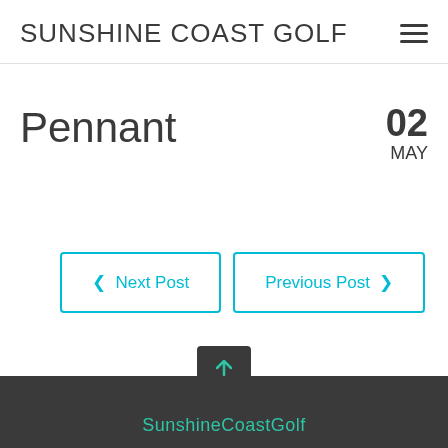SUNSHINE COAST GOLF
Pennant
02 MAY
< Next Post
Previous Post >
SunshineCoastGolf